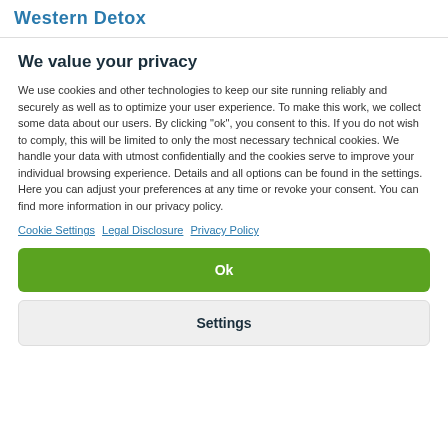Western Detox
We value your privacy
We use cookies and other technologies to keep our site running reliably and securely as well as to optimize your user experience. To make this work, we collect some data about our users. By clicking "ok", you consent to this. If you do not wish to comply, this will be limited to only the most necessary technical cookies. We handle your data with utmost confidentially and the cookies serve to improve your individual browsing experience. Details and all options can be found in the settings. Here you can adjust your preferences at any time or revoke your consent. You can find more information in our privacy policy.
Cookie Settings  Legal Disclosure  Privacy Policy
Ok
Settings